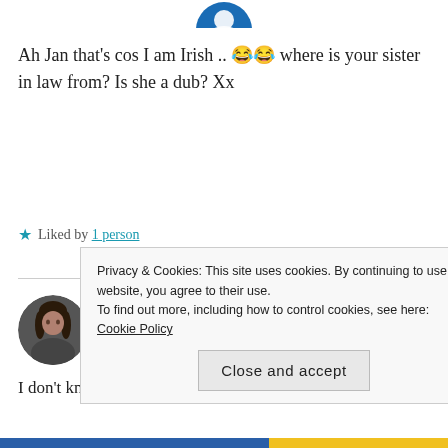[Figure (illustration): Partial circular avatar image at top center, showing blue/white partial face icon]
Ah Jan that's cos I am Irish .. 😂😂 where is your sister in law from? Is she a dub? Xx
★ Liked by 1 person
[Figure (photo): Circular avatar photo of Janice Wald, a woman with dark hair]
Janice Wald
APRIL 18, 2017 AT 11:30 PM
I don't know. I think she was born here but
Privacy & Cookies: This site uses cookies. By continuing to use this website, you agree to their use.
To find out more, including how to control cookies, see here: Cookie Policy
Close and accept